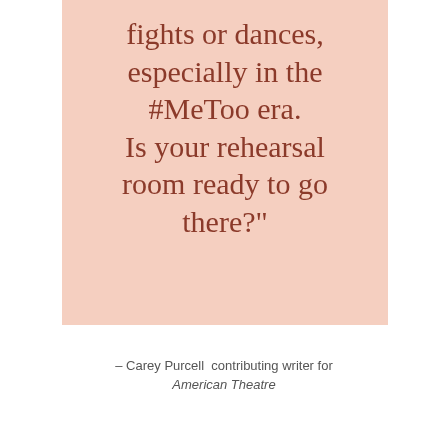fights or dances, especially in the #MeToo era. Is your rehearsal room ready to go there?"
– Carey Purcell  contributing writer for American Theatre